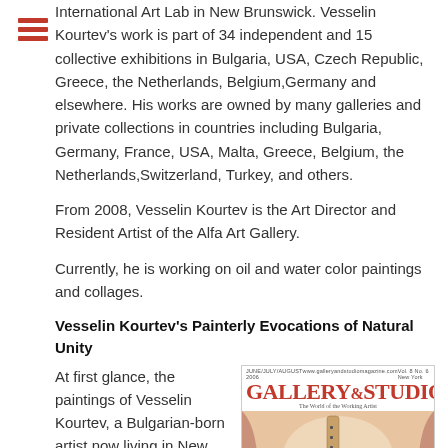International Art Lab in New Brunswick. Vesselin Kourtev's work is part of 34 independent and 15 collective exhibitions in Bulgaria, USA, Czech Republic, Greece, the Netherlands, Belgium, Germany and elsewhere. His works are owned by many galleries and private collections in countries including Bulgaria, Germany, France, USA, Malta, Greece, Belgium, the Netherlands, Switzerland, Turkey, and others.
From 2008, Vesselin Kourtev is the Art Director and Resident Artist of the Alfa Art Gallery.
Currently, he is working on oil and water color paintings and collages.
Vesselin Kourtev's Painterly Evocations of Natural Unity
At first glance, the paintings of Vesselin Kourtev, a Bulgarian-born artist now living in New Jersey who has steadily gained a
[Figure (photo): Cover of Gallery & Studio magazine showing a painting with warm tones]